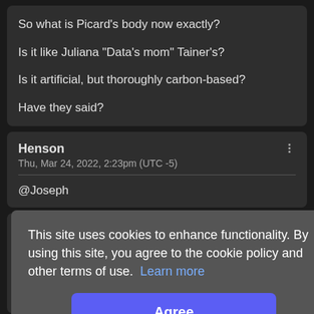So what is Picard's body now exactly?

Is it like Juliana "Data's mom" Tainer's?

Is it artificial, but thoroughly carbon-based?

Have they said?
Henson
Thu, Mar 24, 2022, 2:23pm (UTC -5)

@Joseph
This site uses cookies to enhance functionality. By using this site, you agree to the cookie policy and other terms of use. Learn more
Agree
Thu, Mar 24, 2022, 2:46pm (UTC -5)